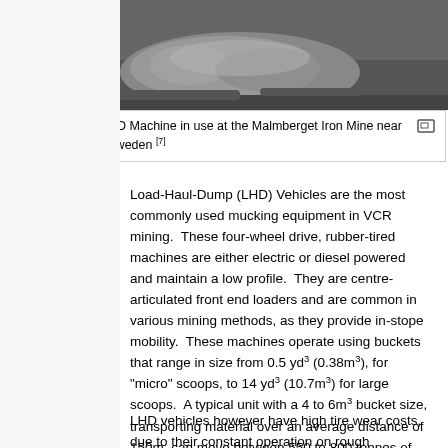[Figure (photo): Black and white photograph of a 25-ton LHD Machine at the Malmberget Iron Mine near Gällivare, Sweden. Shows a large rock or ore mass on rocky ground.]
A 25-ton LHD Machine in use at the Malmberget Iron Mine near Gällivare, Sweden [7]
Load-Haul-Dump (LHD) Vehicles are the most commonly used mucking equipment in VCR mining.  These four-wheel drive, rubber-tired machines are either electric or diesel powered and maintain a low profile.  They are centre-articulated front end loaders and are common in various mining methods, as they provide in-stope mobility.  These machines operate using buckets that range in size from 0.5 yd³ (0.38m³), for "micro" scoops, to 14 yd³ (10.7m³) for large scoops.  A typical unit with a 4 to 6m³ bucket size, transporting material over an average distance of 150m, can move between 550 to 800 tonnes of material per hour.
LHD vehicles however have high tire wear costs, due to their constant operation on rough